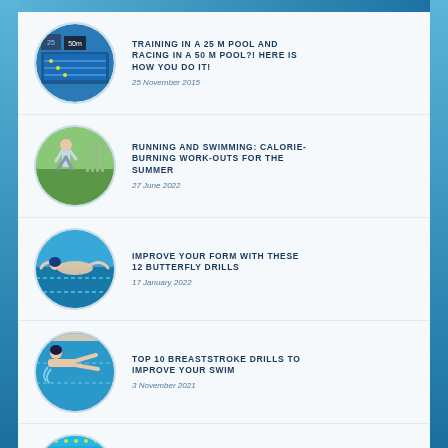TRAINING IN A 25 M POOL AND RACING IN A 50 M POOL?! HERE IS HOW YOU DO IT! — 25 November 2015
RUNNING AND SWIMMING: CALORIE-BURNING WORK-OUTS FOR THE SUMMER — 27 June 2022
IMPROVE YOUR FORM WITH THESE 12 BUTTERFLY DRILLS — 17 January 2022
TOP 10 BREASTSTROKE DRILLS TO IMPROVE YOUR SWIM — 3 November 2021
10 FREESTYLE DRILLS FOR IMPROVED TECHNIQUE AND ENDURANCE — 11 April 2016